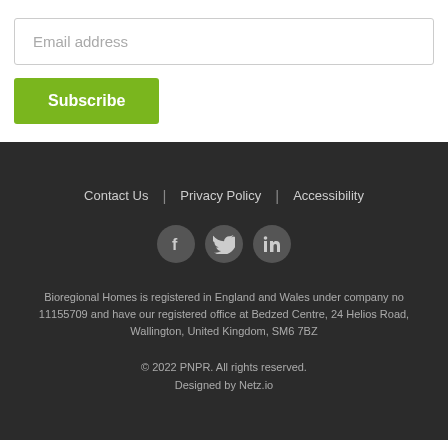Email address
Subscribe
Contact Us | Privacy Policy | Accessibility
[Figure (illustration): Three social media icons: Facebook, Twitter, LinkedIn — circular dark grey buttons with white icons]
Bioregional Homes is registered in England and Wales under company no 11155709 and have our registered office at Bedzed Centre, 24 Helios Road, Wallington, United Kingdom, SM6 7BZ
© 2022 PNPR. All rights reserved.
Designed by Netz.io